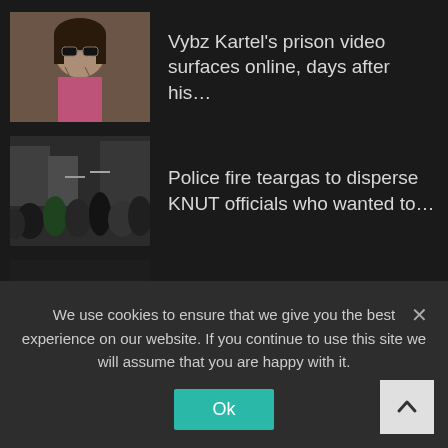[Figure (photo): Photo of Vybz Kartel wearing sunglasses and a pink shirt]
Vybz Kartel's prison video surfaces online, days after his...
[Figure (photo): Photo of a crowd of people at a demonstration, police present]
Police fire teargas to disperse KNUT officials who wanted to...
[Figure (photo): Photo of people near a tanker truck]
13 people killed while siphoning fuel after tanker overturns
We use cookies to ensure that we give you the best experience on our website. If you continue to use this site we will assume that you are happy with it.